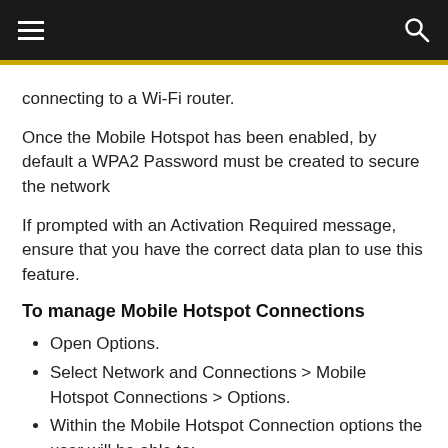connecting to a Wi-Fi router.
Once the Mobile Hotspot has been enabled, by default a WPA2 Password must be created to secure the network
If prompted with an Activation Required message, ensure that you have the correct data plan to use this feature.
To manage Mobile Hotspot Connections
Open Options.
Select Network and Connections > Mobile Hotspot Connections > Options.
Within the Mobile Hotspot Connection options the user will be able to:
Change the Network Name (SSID).
Select a Security type. The available